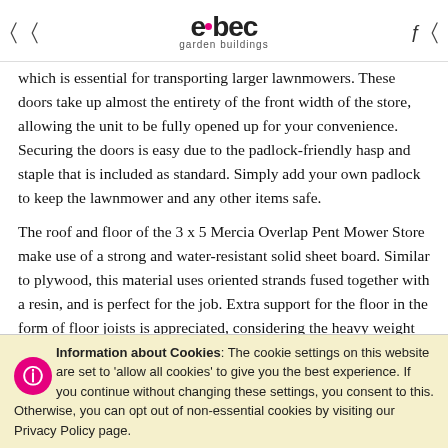elbec garden buildings
which is essential for transporting larger lawnmowers. These doors take up almost the entirety of the front width of the store, allowing the unit to be fully opened up for your convenience. Securing the doors is easy due to the padlock-friendly hasp and staple that is included as standard. Simply add your own padlock to keep the lawnmower and any other items safe.
The roof and floor of the 3 x 5 Mercia Overlap Pent Mower Store make use of a strong and water-resistant solid sheet board. Similar to plywood, this material uses oriented strands fused together with a resin, and is perfect for the job. Extra support for the floor in the form of floor joists is appreciated, considering the heavy weight of some lawnmowers. Mineral roofing felt on the pent roof gives the exterior that classic garden shed look while keeping the elements at bay.
Information about Cookies: The cookie settings on this website are set to 'allow all cookies' to give you the best experience. If you continue without changing these settings, you consent to this. Otherwise, you can opt out of non-essential cookies by visiting our Privacy Policy page.